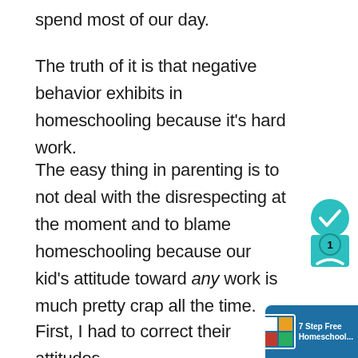spend most of our day.
The truth of it is that negative behavior exhibits in homeschooling because it's hard work.
The easy thing in parenting is to not deal with the disrespecting at the moment and to blame homeschooling because our kid's attitude toward any work is much pretty crap all the time.
First, I had to correct their attitudes